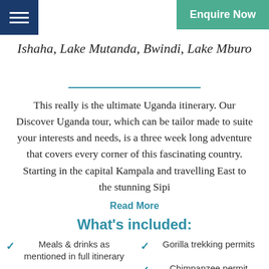Enquire Now
Ishaha, Lake Mutanda, Bwindi, Lake Mburo
This really is the ultimate Uganda itinerary. Our Discover Uganda tour, which can be tailor made to suite your interests and needs, is a three week long adventure that covers every corner of this fascinating country. Starting in the capital Kampala and travelling East to the stunning Sipi
Read More
What's included:
Meals & drinks as mentioned in full itinerary
Gorilla trekking permits
Chimpanzee permit